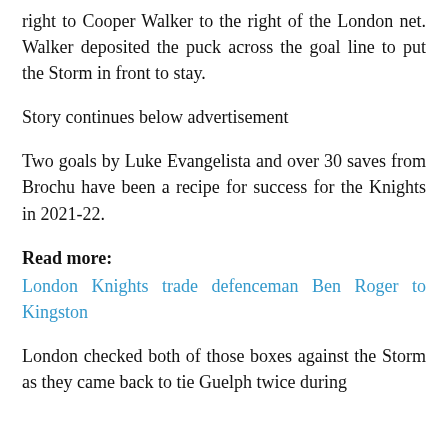right to Cooper Walker to the right of the London net. Walker deposited the puck across the goal line to put the Storm in front to stay.
Story continues below advertisement
Two goals by Luke Evangelista and over 30 saves from Brochu have been a recipe for success for the Knights in 2021-22.
Read more:
London Knights trade defenceman Ben Roger to Kingston
London checked both of those boxes against the Storm as they came back to tie Guelph twice during